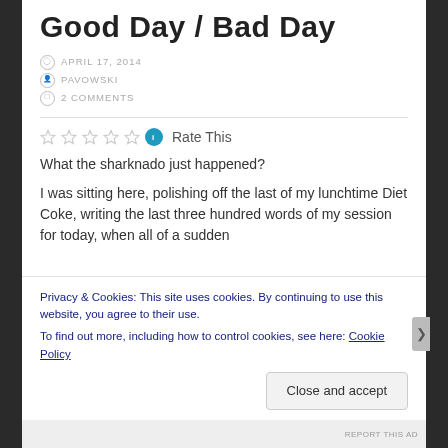Good Day / Bad Day
APRIL 17, 2014
PAVOWSKI
2 COMMENTS
Rate This
What the sharknado just happened?
I was sitting here, polishing off the last of my lunchtime Diet Coke, writing the last three hundred words of my session for today, when all of a sudden
Privacy & Cookies: This site uses cookies. By continuing to use this website, you agree to their use.
To find out more, including how to control cookies, see here: Cookie Policy
Close and accept